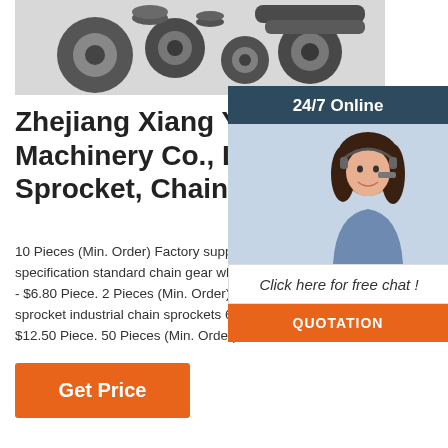[Figure (photo): Photo of industrial sprockets and chain gears, dark metallic parts arranged on white background]
Zhejiang Xiang Yu Machinery Co., Ltd. - Sprocket, Chains
10 Pieces (Min. Order) Factory supply custom high quality specification standard chain gear wheel sprocket 60T. $3.50 - $6.80 Piece. 2 Pieces (Min. Order) Factory custom made sprocket industrial chain sprockets 60B with groove. $9.00 - $12.50 Piece. 50 Pieces (Min. Order)
[Figure (photo): 24/7 Online chat widget with photo of female customer service agent wearing headset, smiling. Includes 'Click here for free chat!' text and orange QUOTATION button.]
Get Price